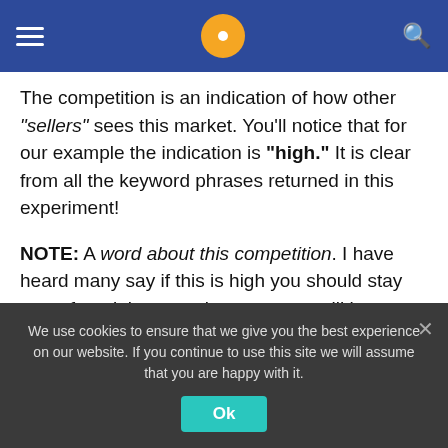[Figure (screenshot): Mobile app navigation bar with hamburger menu, orange circle logo with white dot, and search icon on dark blue background. Green progress bar at top.]
The competition is an indication of how other "sellers" sees this market. You'll notice that for our example the indication is "high." It is clear from all the keyword phrases returned in this experiment!
NOTE: A word about this competition. I have heard many say if this is high you should stay away from it because it means you will be up against a big competition. Unfortunately, it is not so!  This is only true if you're using Google Adwords for your promotion. If however, your niche
We use cookies to ensure that we give you the best experience on our website. If you continue to use this site we will assume that you are happy with it.